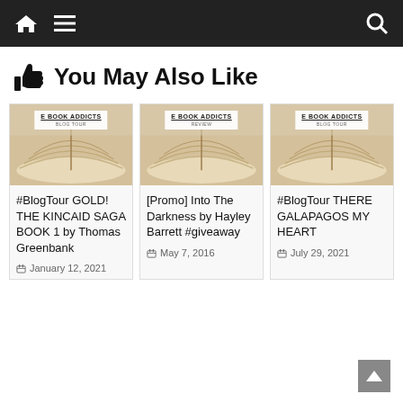Navigation bar with home icon, menu icon, search icon
You May Also Like
[Figure (photo): Book cover thumbnail for E Book Addicts blog tour post]
#BlogTour GOLD! THE KINCAID SAGA BOOK 1 by Thomas Greenbank
January 12, 2021
[Figure (photo): Book cover thumbnail for E Book Addicts review post]
[Promo] Into The Darkness by Hayley Barrett #giveaway
May 7, 2016
[Figure (photo): Book cover thumbnail for E Book Addicts blog tour post]
#BlogTour THERE GALAPAGOS MY HEART
July 29, 2021